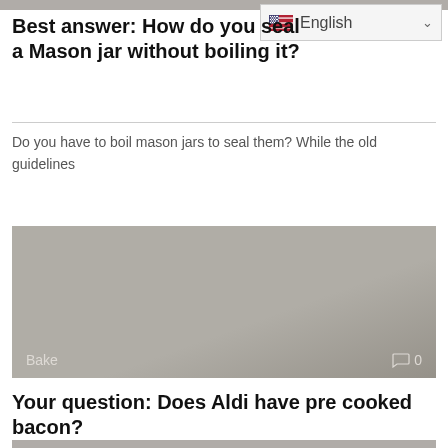Best answer: How do you seal a Mason jar without boiling it?
Do you have to boil mason jars to seal them? While the old guidelines
[Figure (photo): Gray placeholder image with 'Bake' label at bottom left and comment icon with '0' at bottom right]
Your question: Does Aldi have pre cooked bacon?
Does Aldi carry precooked bacon? Fully Cooked Bacon – Appleton Farms | ALDI US.
[Figure (photo): Gray placeholder image at bottom, partially visible]